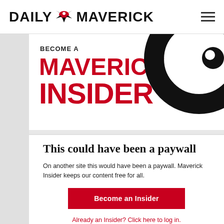DAILY MAVERICK
[Figure (logo): Daily Maverick masthead logo with stylized bird/eagle icon between DAILY and MAVERICK text]
[Figure (illustration): Maverick Insider promotional banner with red text 'BECOME A MAVERICK INSIDER' on white background with large black swirl graphic on the right]
This could have been a paywall
On another site this would have been a paywall. Maverick Insider keeps our content free for all.
Become an Insider
Already an Insider? Click here to log in.